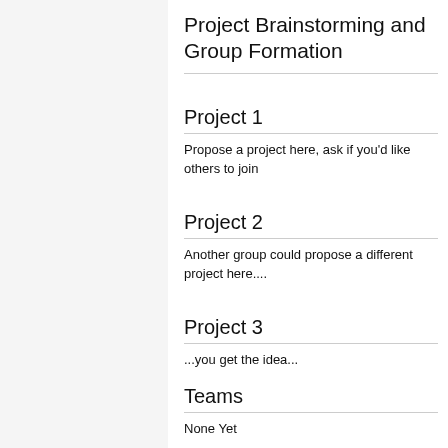Project Brainstorming and Group Formation
Project 1
Propose a project here, ask if you'd like others to join
Project 2
Another group could propose a different project here....
Project 3
...you get the idea...
Teams
None Yet